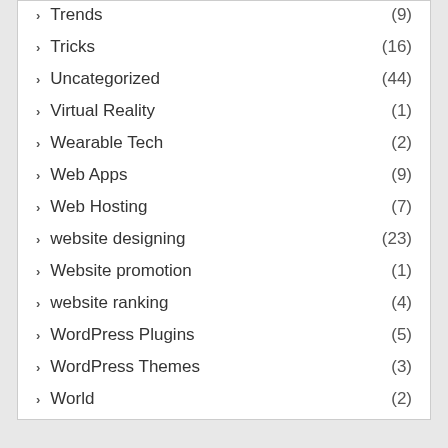Trends (9)
Tricks (16)
Uncategorized (44)
Virtual Reality (1)
Wearable Tech (2)
Web Apps (9)
Web Hosting (7)
website designing (23)
Website promotion (1)
website ranking (4)
WordPress Plugins (5)
WordPress Themes (3)
World (2)